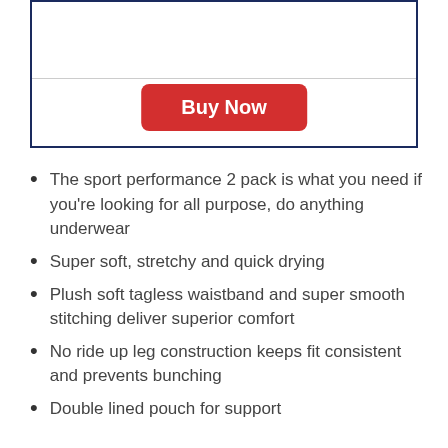[Figure (other): Box with a Buy Now button, bordered with dark navy outline and a horizontal divider line separating upper empty area from the button area]
The sport performance 2 pack is what you need if you're looking for all purpose, do anything underwear
Super soft, stretchy and quick drying
Plush soft tagless waistband and super smooth stitching deliver superior comfort
No ride up leg construction keeps fit consistent and prevents bunching
Double lined pouch for support